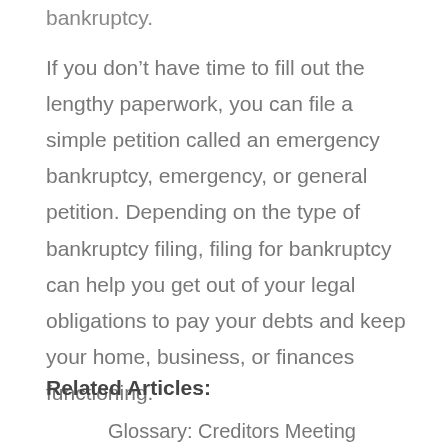bankruptcy.
If you don’t have time to fill out the lengthy paperwork, you can file a simple petition called an emergency bankruptcy, emergency, or general petition. Depending on the type of bankruptcy filing, filing for bankruptcy can help you get out of your legal obligations to pay your debts and keep your home, business, or finances functioning.
Related Articles:
Glossary: Creditors Meeting